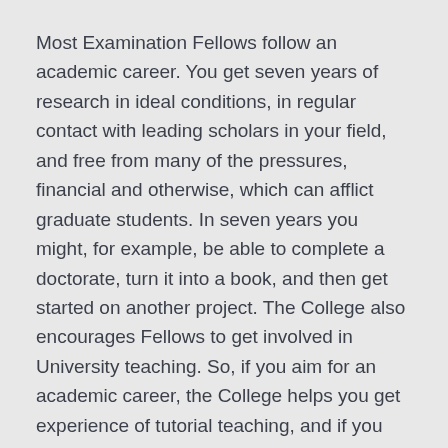Most Examination Fellows follow an academic career. You get seven years of research in ideal conditions, in regular contact with leading scholars in your field, and free from many of the pressures, financial and otherwise, which can afflict graduate students. In seven years you might, for example, be able to complete a doctorate, turn it into a book, and then get started on another project. The College also encourages Fellows to get involved in University teaching. So, if you aim for an academic career, the College helps you get experience of tutorial teaching, and if you give lectures your salary is increased.
Some Examination Fellows pursue careers outside academia in law, finance, journalism, the arts, the Civil Service and so on. If you chose not to do full-time academic work, you would receive a smaller